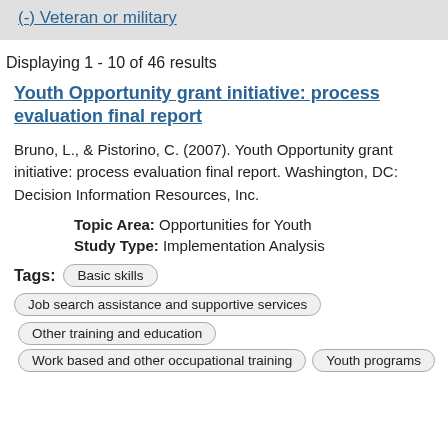(-) Veteran or military
Displaying 1 - 10 of 46 results
Youth Opportunity grant initiative: process evaluation final report
Bruno, L., & Pistorino, C. (2007). Youth Opportunity grant initiative: process evaluation final report. Washington, DC: Decision Information Resources, Inc.
Topic Area: Opportunities for Youth
Study Type: Implementation Analysis
Tags: Basic skills | Job search assistance and supportive services | Other training and education | Work based and other occupational training | Youth programs